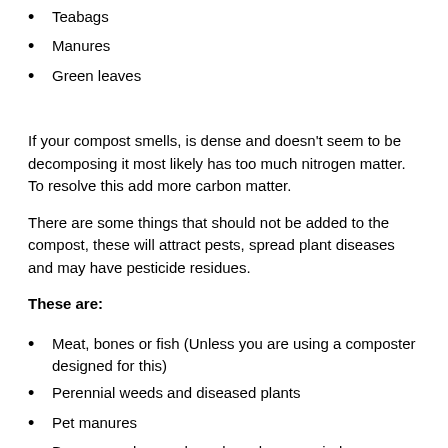Teabags
Manures
Green leaves
If your compost smells, is dense and doesn't seem to be decomposing it most likely has too much nitrogen matter. To resolve this add more carbon matter.
There are some things that should not be added to the compost, these will attract pests, spread plant diseases and may have pesticide residues.
These are:
Meat, bones or fish (Unless you are using a composter designed for this)
Perennial weeds and diseased plants
Pet manures
Banana peels, peach peels and orange rinds